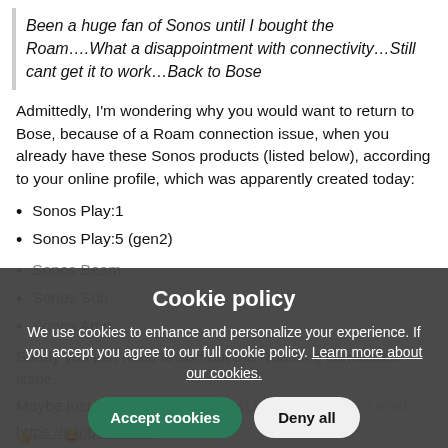Been a huge fan of Sonos until I bought the Roam….What a disappointment with connectivity…Still cant get it to work…Back to Bose
Admittedly, I'm wondering why you would want to return to Bose, because of a Roam connection issue, when you already have these Sonos products (listed below), according to your online profile, which was apparently created today:
Sonos Play:1
Sonos Play:5 (gen2)
Sonos Beam
Sonos Sub
Sonos Amp
Surely you just need to sort out the Roaming connection issue.
Maybe just contact Sonos support for assistance, or read…
https://support.son...
[Figure (screenshot): Cookie policy modal overlay on dark semi-transparent background. Contains title 'Cookie policy', explanatory text about cookies, 'Accept cookies' green button, 'Deny all' white button, and 'Cookie settings' link.]